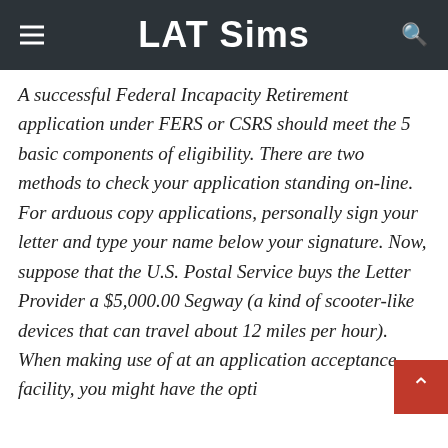LAT Sims
A successful Federal Incapacity Retirement application under FERS or CSRS should meet the 5 basic components of eligibility. There are two methods to check your application standing on-line. For arduous copy applications, personally sign your letter and type your name below your signature. Now, suppose that the U.S. Postal Service buys the Letter Provider a $5,000.00 Segway (a kind of scooter-like devices that can travel about 12 miles per hour).
When making use of at an application acceptance facility, you might have the option